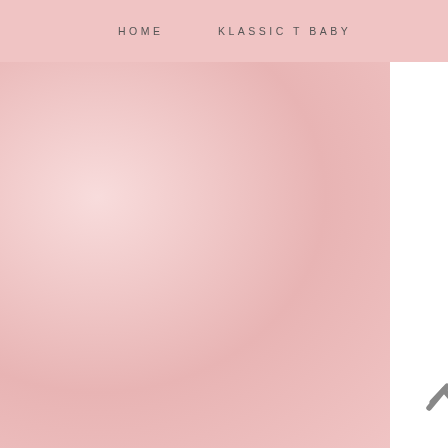HOME   KLASSIC T BABY
[Figure (photo): Large pink textured background image filling the left portion of the page]
4. E...
If the d... think it... avoid i... see an... your jo... go to ... goal is... on som...